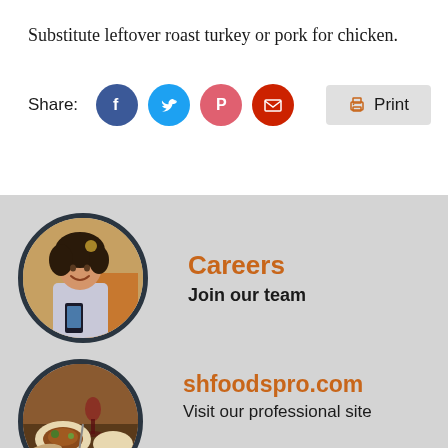Substitute leftover roast turkey or pork for chicken.
Share:
[Figure (infographic): Social share icons: Facebook (blue circle with F), Twitter (blue circle with bird), Pinterest (pink circle with P), Email (red circle with envelope), and a Print button with printer icon]
[Figure (photo): Circular photo of a smiling woman with curly hair holding a phone, with dark circular border]
Careers
Join our team
[Figure (photo): Circular photo of food on a table with people dining, with dark circular border]
shfoodspro.com
Visit our professional site